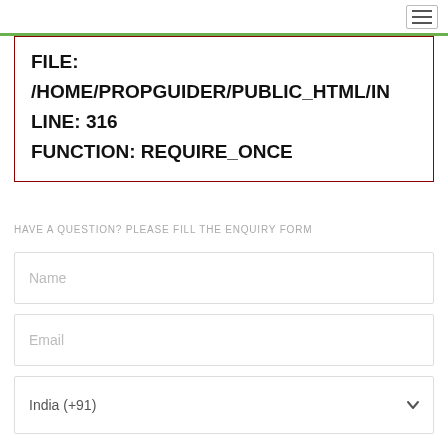FILE:
/HOME/PROPGUIDER/PUBLIC_HTML/IN
LINE: 316
FUNCTION: REQUIRE_ONCE
HAVE A QUESTION? PLEASE FILL THE ENQUIRY FORM
Name
Email
India (+91)